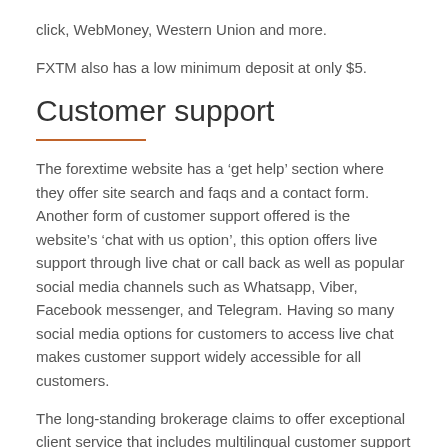click, WebMoney, Western Union and more.
FXTM also has a low minimum deposit at only $5.
Customer support
The forextime website has a ‘get help’ section where they offer site search and faqs and a contact form. Another form of customer support offered is the website’s ‘chat with us option’, this option offers live support through live chat or call back as well as popular social media channels such as Whatsapp, Viber, Facebook messenger, and Telegram. Having so many social media options for customers to access live chat makes customer support widely accessible for all customers.
The long-standing brokerage claims to offer exceptional client service that includes multilingual customer support and personal account manages (the website currently has 18 languages available), as well as trading and technical support. FXTM also offers exclusive privileges for their VIP